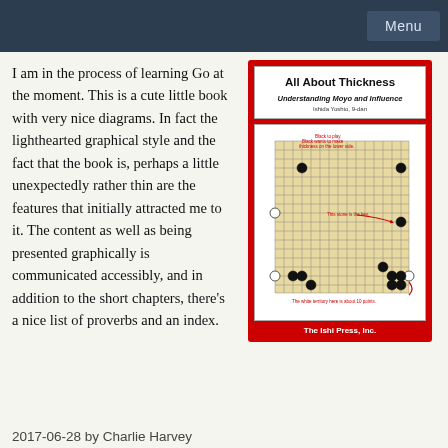Menu
I am in the process of learning Go at the moment. This is a cute little book with very nice diagrams. In fact the lighthearted graphical style and the fact that the book is, perhaps a little unexpectedly rather thin are the features that initially attracted me to it. The content as well as being presented graphically is communicated accessibly, and in addition to the short chapters, there's a nice list of proverbs and an index.
[Figure (photo): Book cover of 'All About Thickness: Understanding Moyo and Influence' by Ishida Yoshio, 9-dan, published by The Ishi Press, Inc. Red cover with white panels showing the book title, subtitle, author, a Go board diagram with black and white stones and red annotations, and publisher name.]
2017-06-28 by Charlie Harvey